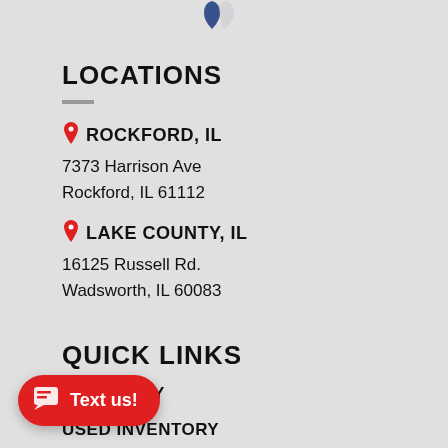[Figure (logo): Partial logo/shield icon at top center of page]
LOCATIONS
ROCKFORD, IL
7373 Harrison Ave
Rockford, IL 61112
LAKE COUNTY, IL
16125 Russell Rd.
Wadsworth, IL 60083
QUICK LINKS
INVENTORY
USED INVENTORY
[Figure (other): Red rounded button with chat icon and Text us! label]